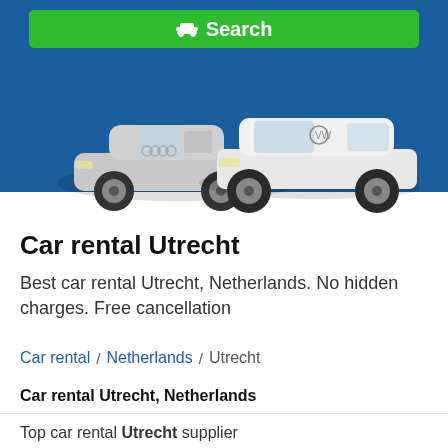[Figure (screenshot): Green search button with car icon and the text 'Search' on a dark blue background header bar]
[Figure (photo): Two silver/white cars side by side: a convertible Audi on the left and a white Volkswagen SUV on the right, on a blue background]
Car rental Utrecht
Best car rental Utrecht, Netherlands. No hidden charges. Free cancellation
Car rental / Netherlands / Utrecht
Car rental Utrecht, Netherlands
Top car rental Utrecht supplier